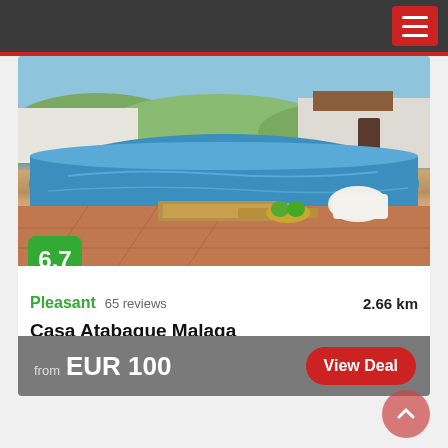Navigation bar with hamburger menu
[Figure (photo): Outdoor swimming pool with blue water, sun loungers, a tray with green apples, towels, and a white villa building in the background with hills]
Pleasant  65 reviews  2.66 km
Casa Atabaque Malaga
Star rating: 0 stars
from  EUR 100
View Deal